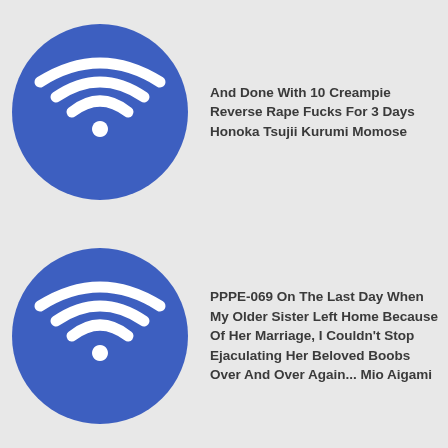[Figure (logo): Blue circle WiFi icon placeholder]
And Done With 10 Creampie Reverse Rape Fucks For 3 Days Honoka Tsujii Kurumi Momose
[Figure (logo): Blue circle WiFi icon placeholder]
PPPE-069 On The Last Day When My Older Sister Left Home Because Of Her Marriage, I Couldn't Stop Ejaculating Her Beloved Boobs Over And Over Again... Mio Aigami